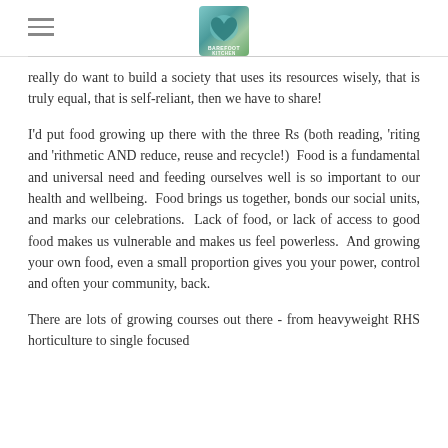Barefoot Kitchen [logo with hamburger menu]
really do want to build a society that uses its resources wisely, that is truly equal, that is self-reliant, then we have to share!
I'd put food growing up there with the three Rs (both reading, 'riting and 'rithmetic AND reduce, reuse and recycle!)  Food is a fundamental and universal need and feeding ourselves well is so important to our health and wellbeing.  Food brings us together, bonds our social units, and marks our celebrations.  Lack of food, or lack of access to good food makes us vulnerable and makes us feel powerless.  And growing your own food, even a small proportion gives you your power, control and often your community, back.
There are lots of growing courses out there - from heavyweight RHS horticulture to single focused